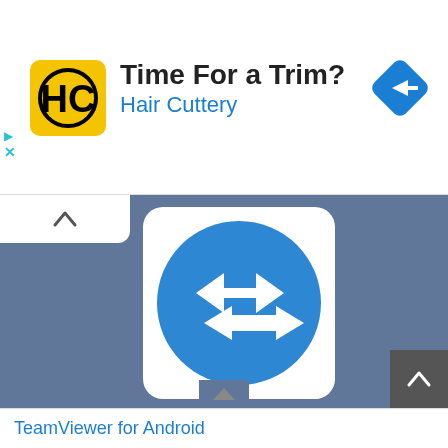[Figure (logo): Hair Cuttery advertisement banner with HC logo (yellow background, black HC letters), text 'Time For a Trim?' and 'Hair Cuttery' in blue, blue diamond navigation arrow icon on right]
[Figure (screenshot): Mobile app UI screenshot showing TeamViewer for Android app icon — blue circle with white double-headed horizontal arrow logo on white rounded card, set against slate-blue background. Collapse button (caret up) top-left, scroll-up button bottom-right.]
TeamViewer for Android